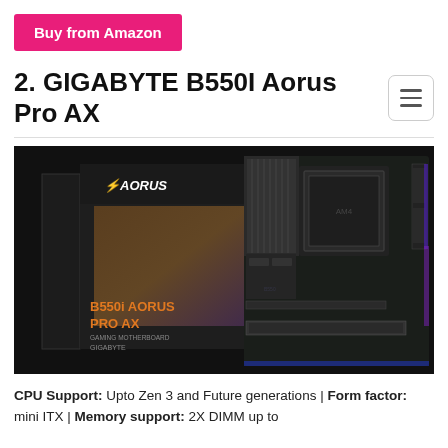Buy from Amazon
2. GIGABYTE B550I Aorus Pro AX
[Figure (photo): GIGABYTE B550I Aorus Pro AX motherboard product photo showing the motherboard and its retail box with the Aorus branding. The box displays 'B550I AORUS PRO AX GAMING MOTHERBOARD' text. The motherboard shows RGB lighting on the edges.]
CPU Support: Upto Zen 3 and Future generations | Form factor: mini ITX | Memory support: 2X DIMM up to